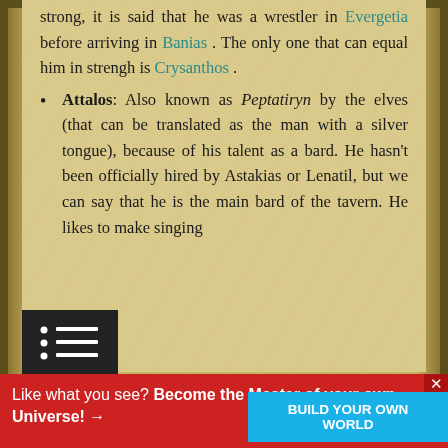strong, it is said that he was a wrestler in Evergetia before arriving in Banias . The only one that can equal him in strengh is Crysanthos .
Attalos: Also known as Peptatiryn by the elves (that can be translated as the man with a silver tongue), because of his talent as a bard. He hasn't been officially hired by Astakias or Lenatil, but we can say that he is the main bard of the tavern. He likes to make singing
Like what you see? Become the Master of your own Universe! →
THE TAVERN: